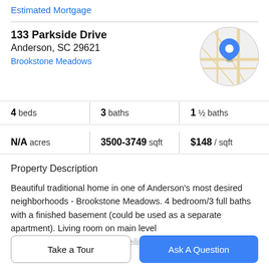Estimated Mortgage
133 Parkside Drive
Anderson, SC 29621
Brookstone Meadows
[Figure (map): Circular map thumbnail showing street map with a blue location pin marker over Parkside Drive area, Anderson SC]
4 beds | 3 baths | 1 ½ baths
N/A acres | 3500-3749 sqft | $148 / sqft
Property Description
Beautiful traditional home in one of Anderson's most desired neighborhoods - Brookstone Meadows. 4 bedroom/3 full baths with a finished basement (could be used as a separate apartment). Living room on main level
boasts has fireplace, vaulted ceilings, access to screened...
Take a Tour
Ask A Question